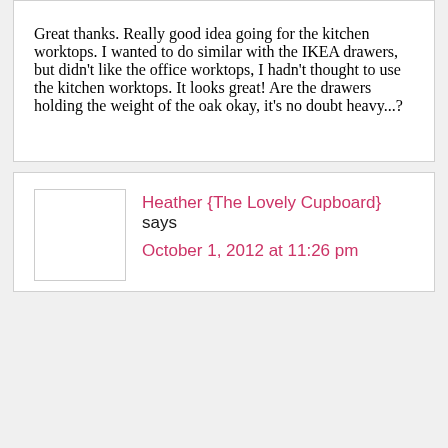Great thanks. Really good idea going for the kitchen worktops. I wanted to do similar with the IKEA drawers, but didn't like the office worktops, I hadn't thought to use the kitchen worktops. It looks great! Are the drawers holding the weight of the oak okay, it's no doubt heavy...?
Heather {The Lovely Cupboard} says October 1, 2012 at 11:26 pm